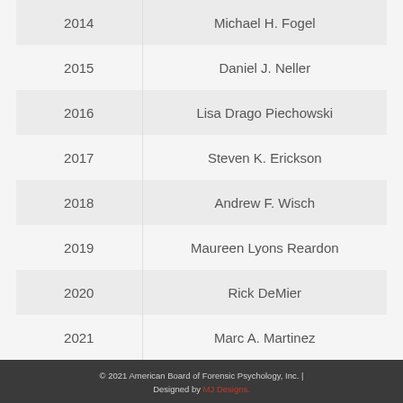| Year | Name |
| --- | --- |
| 2014 | Michael H. Fogel |
| 2015 | Daniel J. Neller |
| 2016 | Lisa Drago Piechowski |
| 2017 | Steven K. Erickson |
| 2018 | Andrew F. Wisch |
| 2019 | Maureen Lyons Reardon |
| 2020 | Rick DeMier |
| 2021 | Marc A. Martinez |
© 2021 American Board of Forensic Psychology, Inc. | Designed by MJ Designs.